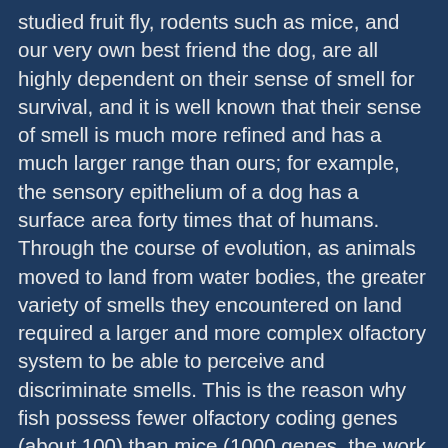studied fruit fly, rodents such as mice, and our very own best friend the dog, are all highly dependent on their sense of smell for survival, and it is well known that their sense of smell is much more refined and has a much larger range than ours; for example, the sensory epithelium of a dog has a surface area forty times that of humans. Through the course of evolution, as animals moved to land from water bodies, the greater variety of smells they encountered on land required a larger and more complex olfactory system to be able to perceive and discriminate smells. This is the reason why fish possess fewer olfactory coding genes (about 100) than mice (1000 genes, the work of Nobel laureates Axel and Buck). There is a certain trend, in our species and related species such as the Gorilla, to have become less dependent on olfaction and more dependent on vision; evidence comes from studies in loss of gene function (carta.anthropogeny.org). So it seems that evolution is driving us toward becoming more and more visually oriented animals. Here's a surprise though: a recent study by Bastir and colleagues (Nature communications 2011) reports an increase in olfactory bulb and orbito-frontal cortex size (both involved in olfactory processing) in modern humans